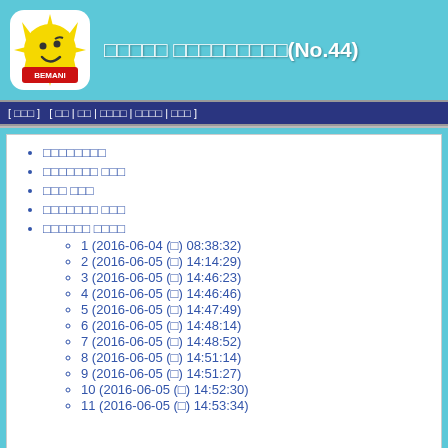[Figure (logo): BEMANI WIKI logo with yellow sun character and red BEMANI WIKI text]
□□□□□ □□□□□□□□□(No.44)
[ □□□ ]   [ □□ | □□ | □□□□ | □□□□ | □□□ ]
□□□□□□□□
□□□□□□□ □□□
□□□ □□□
□□□□□□□ □□□
□□□□□□ □□□□
1 (2016-06-04 (□) 08:38:32)
2 (2016-06-05 (□) 14:14:29)
3 (2016-06-05 (□) 14:46:23)
4 (2016-06-05 (□) 14:46:46)
5 (2016-06-05 (□) 14:47:49)
6 (2016-06-05 (□) 14:48:14)
7 (2016-06-05 (□) 14:48:52)
8 (2016-06-05 (□) 14:51:14)
9 (2016-06-05 (□) 14:51:27)
10 (2016-06-05 (□) 14:52:30)
11 (2016-06-05 (□) 14:53:34)